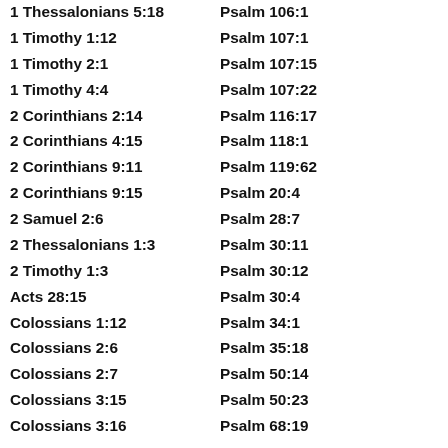| Reference 1 | Reference 2 |
| --- | --- |
| 1 Thessalonians 5:18 | Psalm 106:1 |
| 1 Timothy 1:12 | Psalm 107:1 |
| 1 Timothy 2:1 | Psalm 107:15 |
| 1 Timothy 4:4 | Psalm 107:22 |
| 2 Corinthians 2:14 | Psalm 116:17 |
| 2 Corinthians 4:15 | Psalm 118:1 |
| 2 Corinthians 9:11 | Psalm 119:62 |
| 2 Corinthians 9:15 | Psalm 20:4 |
| 2 Samuel 2:6 | Psalm 28:7 |
| 2 Thessalonians 1:3 | Psalm 30:11 |
| 2 Timothy 1:3 | Psalm 30:12 |
| Acts 28:15 | Psalm 30:4 |
| Colossians 1:12 | Psalm 34:1 |
| Colossians 2:6 | Psalm 35:18 |
| Colossians 2:7 | Psalm 50:14 |
| Colossians 3:15 | Psalm 50:23 |
| Colossians 3:16 | Psalm 68:19 |